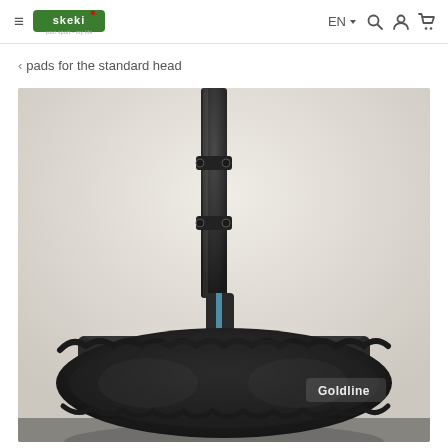Skeki - your sport - my life | EN | Search | Account | Cart
< pads for the standard head
[Figure (photo): Close-up photo of a curling broom head with a black Goldline microfiber pad/cover fitted over a standard broom head, with a black and blue broom handle/shaft visible above it, on a light background.]